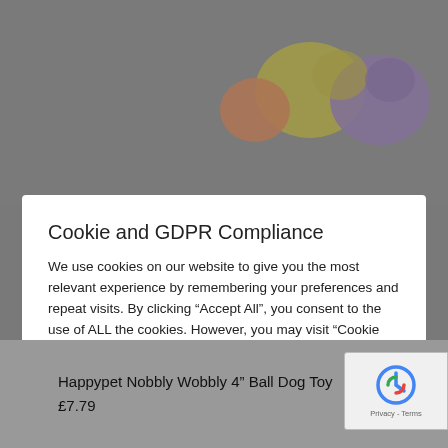[Figure (screenshot): Background screenshot of a pet toy product page showing colorful nobbly wobbly dog toy balls in yellow, orange, and purple on a grey background]
Cookie and GDPR Compliance
We use cookies on our website to give you the most relevant experience by remembering your preferences and repeat visits. By clicking “Accept All”, you consent to the use of ALL the cookies. However, you may visit “Cookie Settings” to provide a controlled consent.
Cookie Settings | Accept All
Read More
Happypet Nobbly Wobbly 4” Ball Dog Toy
£7.79